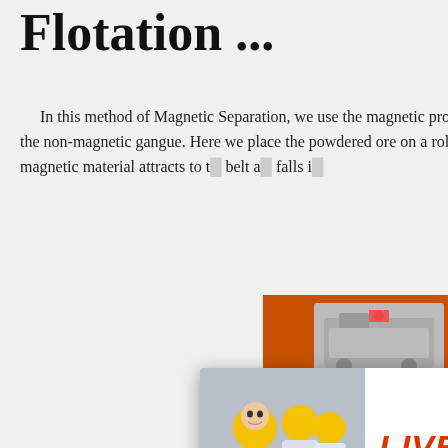Flotation ...
In this method of Magnetic Separation, we use the magnetic properties of certain metals to divide them from the non-magnetic gangue. Here we place the powdered ore on a roller belt. One belt of this magnet. So the magnetic material attracts to the belt and falls in
9
And Minerals On Earth - Forbes
Feb 15, 2016 · Galena (Credit: Dakota M... Galena is a lead sulphide mineral that is one of the primary ores of lead found around the world. Galena has a
[Figure (photo): Live chat popup with construction workers photo, LIVE CHAT heading in red, 'Click for a Free Consultation' subtext, Chat now (red) and Chat later (dark) buttons]
[Figure (infographic): Orange sidebar ad with mining machinery images, 'Enjoy 3% discount', 'Click to Chat', 'Enquiry', and contact email limingjlmofen@sina.com]